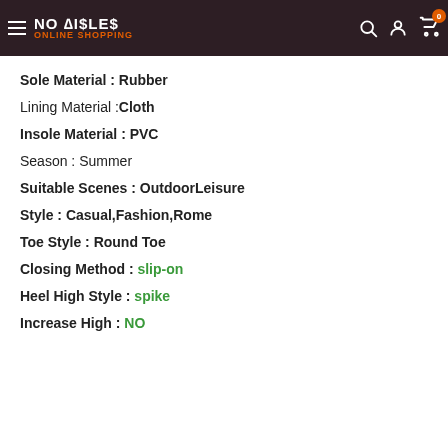NO AISLES ONLINE SHOPPING — navigation header
Sole Material : Rubber
Lining Material : Cloth
Insole Material : PVC
Season : Summer
Suitable Scenes : OutdoorLeisure
Style : Casual,Fashion,Rome
Toe Style : Round Toe
Closing Method : slip-on
Heel High Style : spike
Increase High : NO